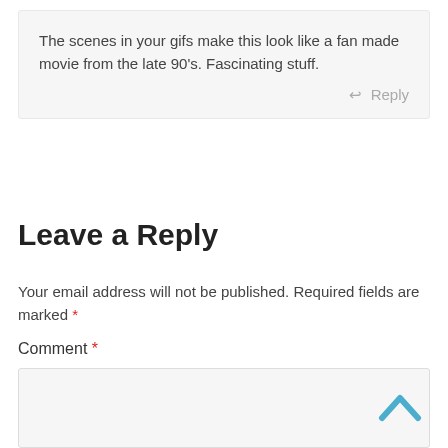The scenes in your gifs make this look like a fan made movie from the late 90's. Fascinating stuff.
↩ Reply
Leave a Reply
Your email address will not be published. Required fields are marked *
Comment *